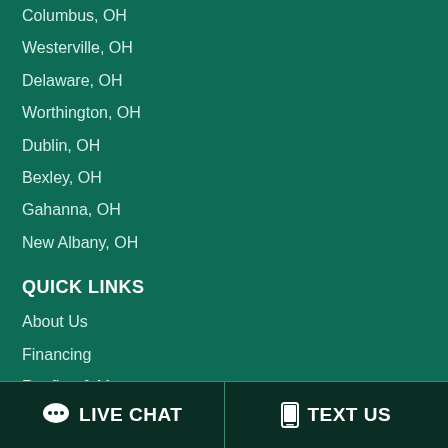Columbus, OH
Westerville, OH
Delaware, OH
Worthington, OH
Dublin, OH
Bexley, OH
Gahanna, OH
New Albany, OH
QUICK LINKS
About Us
Financing
Roofing & More
Roofing FAQ's & Glossary
Storm Damage
LIVE CHAT
TEXT US